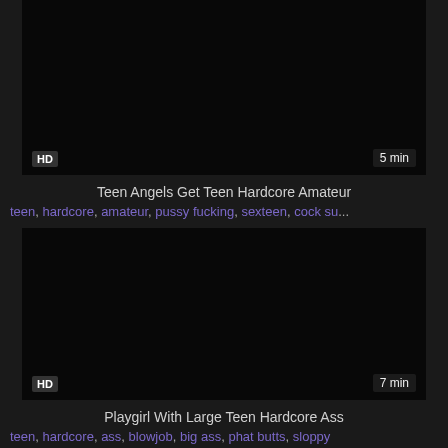[Figure (screenshot): Dark video thumbnail with HD badge bottom-left and 5 min badge bottom-right]
Teen Angels Get Teen Hardcore Amateur
teen, hardcore, amateur, pussy fucking, sexteen, cock su...
[Figure (screenshot): Dark video thumbnail with HD badge bottom-left and 7 min badge bottom-right]
Playgirl With Large Teen Hardcore Ass
teen, hardcore, ass, blowjob, big ass, phat butts, sloppy